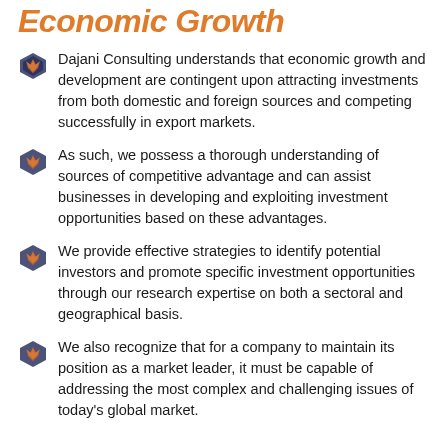Economic Growth
Dajani Consulting understands that economic growth and development are contingent upon attracting investments from both domestic and foreign sources and competing successfully in export markets.
As such, we possess a thorough understanding of sources of competitive advantage and can assist businesses in developing and exploiting investment opportunities based on these advantages.
We provide effective strategies to identify potential investors and promote specific investment opportunities through our research expertise on both a sectoral and geographical basis.
We also recognize that for a company to maintain its position as a market leader, it must be capable of addressing the most complex and challenging issues of today's global market.